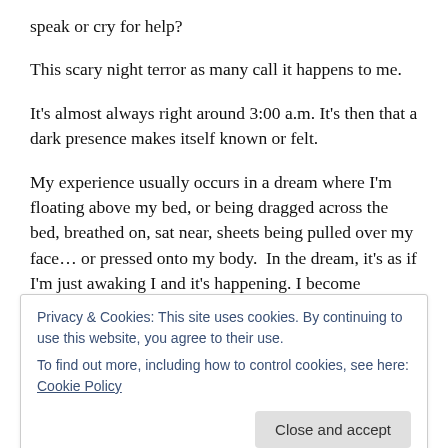speak or cry for help?
This scary night terror as many call it happens to me.
It’s almost always right around 3:00 a.m. It’s then that a dark presence makes itself known or felt.
My experience usually occurs in a dream where I’m floating above my bed, or being dragged across the bed, breathed on, sat near, sheets being pulled over my face… or pressed onto my body.  In the dream, it’s as if I’m just awaking I and it’s happening. I become frightened. My heart starts racing, the adrenaline begins pumping, I never
Privacy & Cookies: This site uses cookies. By continuing to use this website, you agree to their use.
To find out more, including how to control cookies, see here: Cookie Policy
also and almost instinctively knows to call on the name of